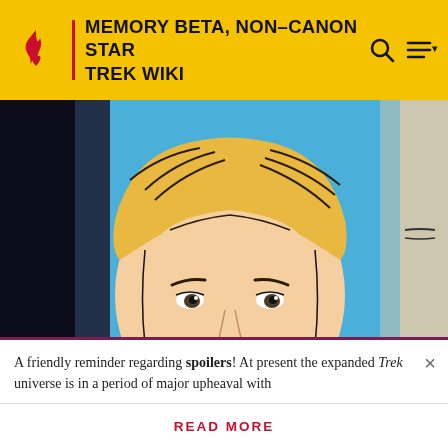MEMORY BETA, NON-CANON STAR TREK WIKI
[Figure (illustration): Comic book style illustration showing a close-up of a blond-haired person in a Star Trek uniform against a blue background, with another partial figure visible on the right edge.]
A friendly reminder regarding spoilers! At present the expanded Trek universe is in a period of major upheaval with
READ MORE